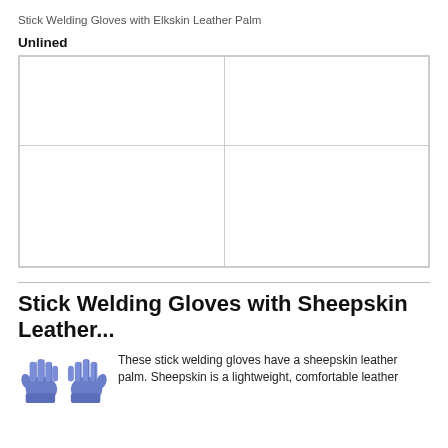Stick Welding Gloves with Elkskin Leather Palm
Unlined
|  |  |
|  |  |
Stick Welding Gloves with Sheepskin Leather...
[Figure (illustration): Two blue sheepskin welding gloves side by side]
These stick welding gloves have a sheepskin leather palm. Sheepskin is a lightweight, comfortable leather